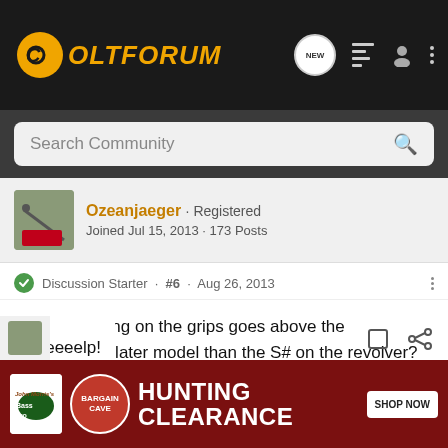[Figure (screenshot): ColtForum website header with logo and navigation icons including NEW chat bubble, list icon, person icon, and three-dot menu]
[Figure (screenshot): Search Community search bar on dark background]
Ozeanjaeger · Registered Joined Jul 15, 2013 · 173 Posts
Discussion Starter · #6 · Aug 26, 2013
The checkering on the grips goes above the medallion...a later model than the S# on the revolver? I'm totally stumped on this one.
Heeeeeelp!
[Figure (infographic): Bass Pro Shops advertisement banner with Bargain Cave logo and HUNTING CLEARANCE SHOP NOW button]